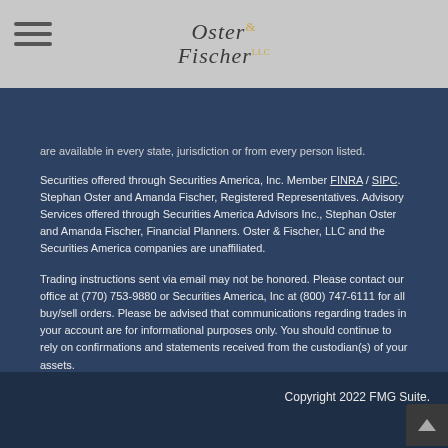[Figure (logo): Oster & Fischer LLC logo with serif italic text in dark gray and ampersand/LLC in gold]
are available in every state, jurisdiction or from every person listed.
Securities offered through Securities America, Inc. Member FINRA / SIPC. Stephan Oster and Amanda Fischer, Registered Representatives. Advisory Services offered through Securities America Advisors Inc., Stephan Oster and Amanda Fischer, Financial Planners. Oster & Fischer, LLC and the Securities America companies are unaffiliated.
Trading instructions sent via email may not be honored. Please contact our office at (770) 753-9880 or Securities America, Inc at (800) 747-6111 for all buy/sell orders. Please be advised that communications regarding trades in your account are for informational purposes only. You should continue to rely on confirmations and statements received from the custodian(s) of your assets.
Copyright 2022 FMG Suite.